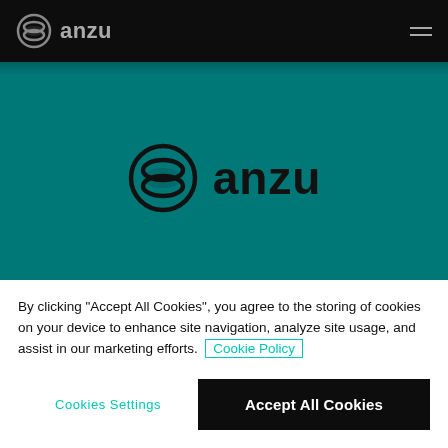[Figure (logo): Anzu logo in navigation bar — circular layered icon with 'anzu' text in gray on dark background]
[Figure (logo): Anzu logo centered on teal background — circular layered icon with 'anzu' text in dark color]
By clicking "Accept All Cookies", you agree to the storing of cookies on your device to enhance site navigation, analyze site usage, and assist in our marketing efforts.
Cookie Policy
Cookies Settings
Accept All Cookies